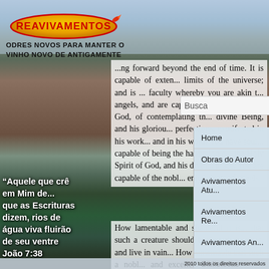[Figure (logo): Reavivamentos logo — yellow/orange elongated oval shape with red text 'REAVIVAMENTOS' and a small rocket/flame graphic]
ODRES NOVOS PARA MANTER O VINHO NOVO DE ANTIGAMENTE
...ng forward beyond the end of time. It is capable of exten... limits of the universe; and is ... faculty whereby you are akin t... angels, and are capable even o... knowing God, of contemplating th... divine Being, and his gloriou... perfections, manifested in his work... and in his word. You have soul... capable of being the habitation o... the Holy Spirit of God, and his divin... grace. You are capable of the nobl... enjoyments of angels.
Busca
Home
Obras do Autor
Avivamentos Atu...
Avivamentos Re...
Avivamentos An...
Bibliotecas
“Aquele que crê em Mim de... que as Escrituras dizem, rios de água viva fluirão de seu ventre João 7:38
How lamentable and shameful it is... that such a creature should b... utterly useless, and live in vain... How lamentable that such a nobl... and excellent piece of divin... workmanship should fail of its enc... and be to no purpose! Was it eve...
2010 todos os direitos reservados